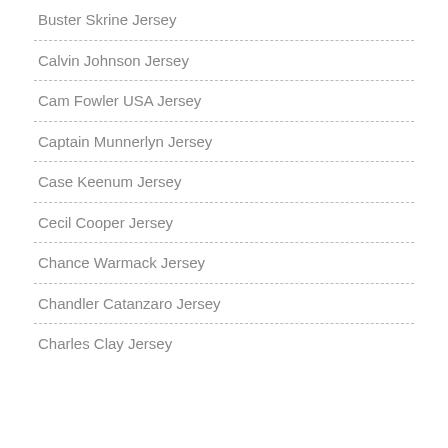Buster Skrine Jersey
Calvin Johnson Jersey
Cam Fowler USA Jersey
Captain Munnerlyn Jersey
Case Keenum Jersey
Cecil Cooper Jersey
Chance Warmack Jersey
Chandler Catanzaro Jersey
Charles Clay Jersey